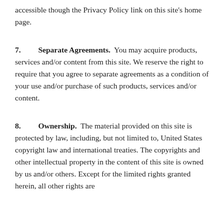accessible though the Privacy Policy link on this site's home page.
7. Separate Agreements. You may acquire products, services and/or content from this site. We reserve the right to require that you agree to separate agreements as a condition of your use and/or purchase of such products, services and/or content.
8. Ownership. The material provided on this site is protected by law, including, but not limited to, United States copyright law and international treaties. The copyrights and other intellectual property in the content of this site is owned by us and/or others. Except for the limited rights granted herein, all other rights are